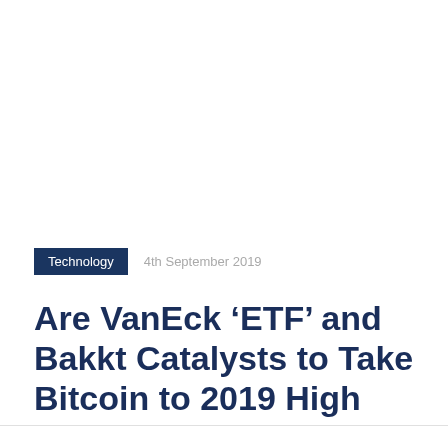Technology   4th September 2019
Are VanEck ‘ETF’ and Bakkt Catalysts to Take Bitcoin to 2019 High Again?